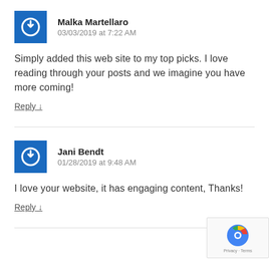Malka Martellaro
03/03/2019 at 7:22 AM
Simply added this web site to my top picks. I love reading through your posts and we imagine you have more coming!
Reply ↓
Jani Bendt
01/28/2019 at 9:48 AM
I love your website, it has engaging content, Thanks!
Reply ↓